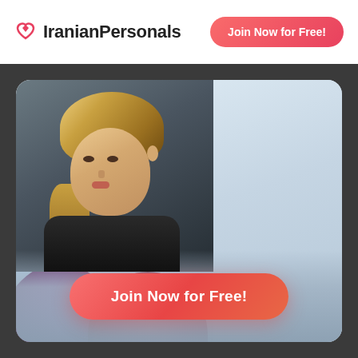[Figure (logo): IranianPersonals logo with red heart icon and brand name in bold dark text]
Join Now for Free!
[Figure (photo): Dating site profile card with two stacked photos on the left (selfie of blonde woman in a car on top, woman standing in a garden with pink/purple flowering trees on bottom) and a blurred/blacked out right panel, set on a dark gray background]
Join Now for Free!